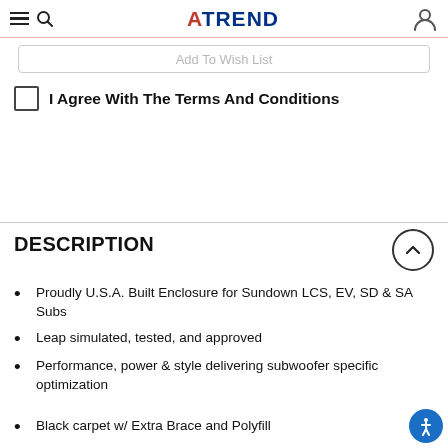ATREND
Add To Wish List
I Agree With The Terms And Conditions
DESCRIPTION
Proudly U.S.A. Built Enclosure for Sundown LCS, EV, SD & SA Subs
Leap simulated, tested, and approved
Performance, power & style delivering subwoofer specific optimization
Black carpet w/ Extra Brace and Polyfill